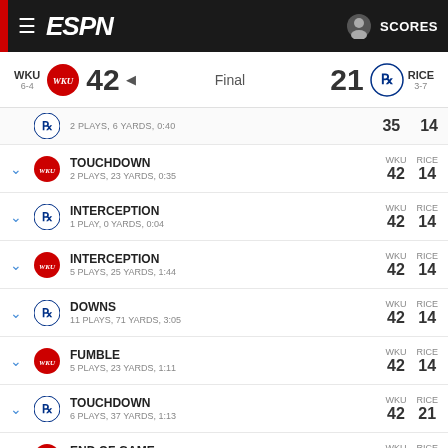ESPN SCORES
WKU 6-4  42  Final  21  RICE 3-7
2 PLAYS, 6 YARDS, 0:40 | 35 | 14
TOUCHDOWN - 2 PLAYS, 23 YARDS, 0:35 | WKU 42 RICE 14
INTERCEPTION - 1 PLAY, 0 YARDS, 0:04 | WKU 42 RICE 14
INTERCEPTION - 5 PLAYS, 25 YARDS, 1:44 | WKU 42 RICE 14
DOWNS - 11 PLAYS, 71 YARDS, 3:05 | WKU 42 RICE 14
FUMBLE - 5 PLAYS, 23 YARDS, 1:11 | WKU 42 RICE 14
TOUCHDOWN - 6 PLAYS, 37 YARDS, 1:13 | WKU 42 RICE 21
END OF GAME - 2 PLAYS, 8 YARDS, 0:55 | WKU 42 RICE 21
End of 4th Quarter